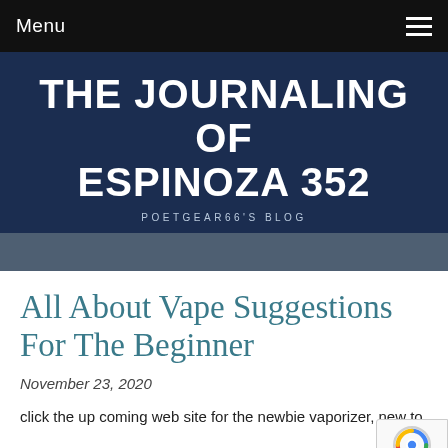Menu
THE JOURNALING OF ESPINOZA 352
POETGEAR66'S BLOG
All About Vape Suggestions For The Beginner
November 23, 2020
click the up coming web site for the newbie vaporizer, new to